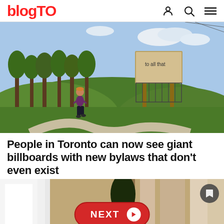blogTO
[Figure (photo): Outdoor park scene with a person jogging on a winding path, green trees and grass, and a large billboard structure in the background reading 'to all that']
People in Toronto can now see giant billboards with new bylaws that don't even exist
[Figure (photo): Partially visible interior/room image at the bottom of the page with a 'NEXT' button overlay and a bookmark icon]